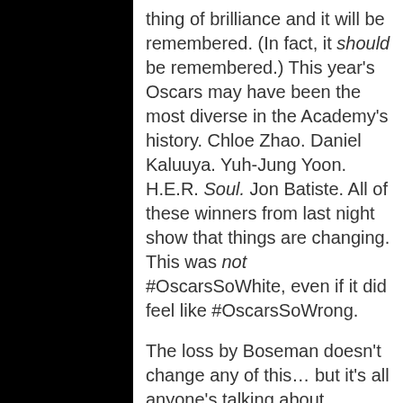thing of brilliance and it will be remembered. (In fact, it should be remembered.) This year's Oscars may have been the most diverse in the Academy's history. Chloe Zhao. Daniel Kaluuya. Yuh-Jung Yoon. H.E.R. Soul. Jon Batiste. All of these winners from last night show that things are changing. This was not #OscarsSoWhite, even if it did feel like #OscarsSoWrong.
The loss by Boseman doesn't change any of this… but it's all anyone's talking about.
Yes, it would have made an amazing story to see him cap off his young…